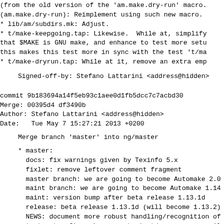(from the old version of the 'am.make.dry-run' macro.
(am.make.dry-run): Reimplement using such new macro.
* lib/am/subdirs.mk: Adjust.
* t/make-keepgoing.tap: Likewise.  While at, simplify
that $MAKE is GNU make, and enhance to test more setu
this makes this test more in sync with the test 't/ma
* t/make-dryrun.tap: While at it, remove an extra emp
Signed-off-by: Stefano Lattarini <address@hidden>
commit 9b183694a14f5eb93c1aee0d1fb5dcc7c7acbd30
Merge: 00395d4 df3490b
Author: Stefano Lattarini <address@hidden>
Date:   Tue May 7 15:27:21 2013 +0200
Merge branch 'master' into ng/master
* master:
  docs: fix warnings given by Texinfo 5.x
  fixlet: remove leftover comment fragment
  master branch: we are going to become Automake 2.0
  maint branch: we are going to become Automake 1.14
  maint: version bump after beta release 1.13.1d
  release: beta release 1.13.1d (will become 1.13.2)
  NEWS: document more robust handling/recognition of
  tests: typofixes in comments in t/preproc-c-compile
  tests: remove bashism from a test
  maint: targets and recipes to simplify testing on n
  build: preparatory refactoring
  build: tiny reduction in code duplication